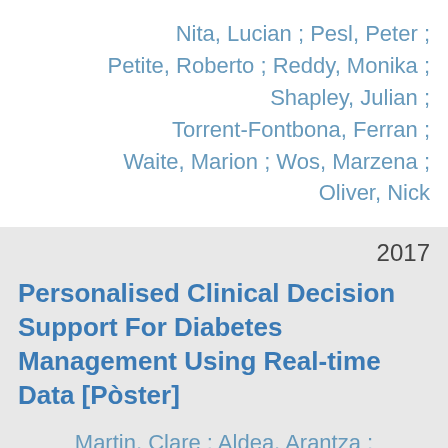Nita, Lucian ; Pesl, Peter ; Petite, Roberto ; Reddy, Monika ; Shapley, Julian ; Torrent-Fontbona, Ferran ; Waite, Marion ; Wos, Marzena ; Oliver, Nick
2017
Personalised Clinical Decision Support For Diabetes Management Using Real-time Data [Pòster]
Martin, Clare ; Aldea, Arantza ;